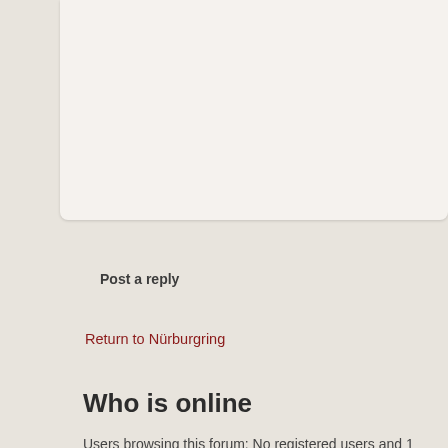28 Doktor Schligawa G...
29 rw75 Ghost 6:49.33
30 T. Meister Ghost 6:4...
'Alcoholic - me? Don'...
Post a reply
Return to Nürburgring
Who is online
Users browsing this forum: No registered users and 1 guest
Board index
Advertisement